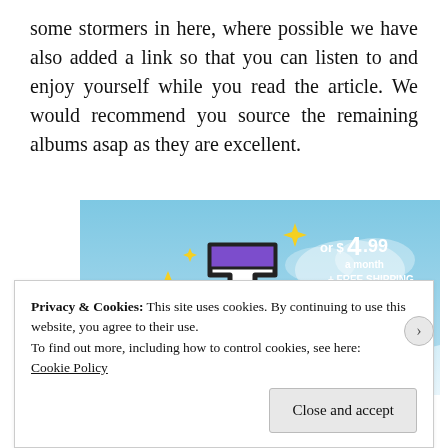some stormers in here, where possible we have also added a link so that you can listen to and enjoy yourself while you read the article. We would recommend you source the remaining albums asap as they are excellent.
[Figure (illustration): Tumblr advertisement banner showing the Tumblr 't' logo in pink and purple on a blue sky background with yellow sparkles, text reading 'or $4.99 a month + FREE SHIPPING']
Privacy & Cookies: This site uses cookies. By continuing to use this website, you agree to their use.
To find out more, including how to control cookies, see here: Cookie Policy